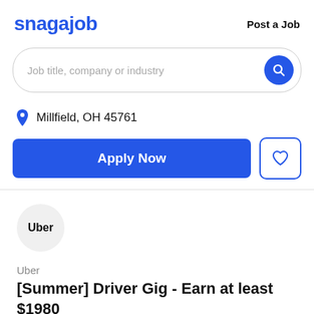snagajob | Post a Job
Job title, company or industry
Millfield, OH 45761
Apply Now
[Figure (logo): Uber company logo circle]
Uber
[Summer] Driver Gig - Earn at least $1980 in your first 200 trips